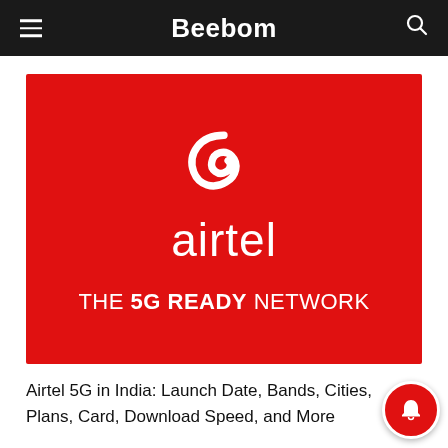Beebom
[Figure (logo): Airtel 5G Ready Network promotional banner. Red background with white Airtel logo (swoosh symbol above 'airtel' wordmark) and tagline 'THE 5G READY NETWORK' in white text.]
Airtel 5G in India: Launch Date, Bands, Cities, Plans, Card, Download Speed, and More